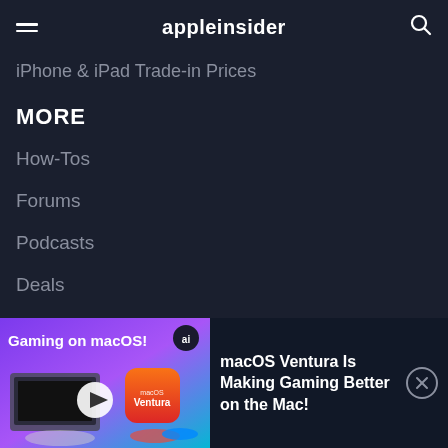appleinsider
iPhone & iPad Trade-in Prices
MORE
How-Tos
Forums
Podcasts
Deals
Videos
Reviews
[Figure (screenshot): Ad banner: Gaming on macOS! with image of MacBook and gaming controllers, macOS Ventura app icon, play button overlay. Text: macOS Ventura Is Making Gaming Better on the Mac!]